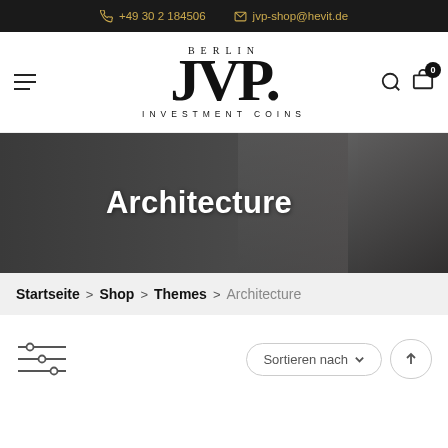+49 30 2 184506  jvp-shop@hevit.de
[Figure (logo): Berlin JVP Investment Coins logo — large serif JVP. with Berlin above and Investment Coins below]
Architecture
Startseite > Shop > Themes > Architecture
Sortieren nach